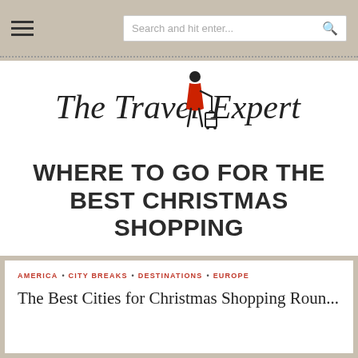Search and hit enter...
[Figure (logo): The Travel Expert logo with a woman in a red dress pulling a suitcase]
WHERE TO GO FOR THE BEST CHRISTMAS SHOPPING
AMERICA · CITY BREAKS · DESTINATIONS · EUROPE
The Best Cities for Christmas Shopping Round...